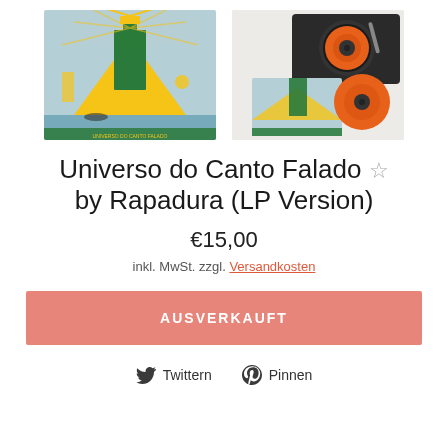[Figure (photo): Left: Album cover art for Universo do Canto Falado by Rapadura - illustrated design with lighthouse, pyramid, teal/green/yellow colors. Right: Product photo showing the LP vinyl record (orange marbled) next to the album sleeve on a turntable.]
Universo do Canto Falado ☆ by Rapadura (LP Version)
€15,00
inkl. MwSt. zzgl. Versandkosten
AUSVERKAUFT
Twittern  Pinnen